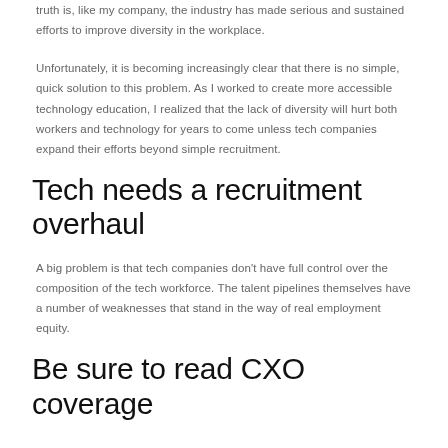truth is, like my company, the industry has made serious and sustained efforts to improve diversity in the workplace.
Unfortunately, it is becoming increasingly clear that there is no simple, quick solution to this problem. As I worked to create more accessible technology education, I realized that the lack of diversity will hurt both workers and technology for years to come unless tech companies expand their efforts beyond simple recruitment.
Tech needs a recruitment overhaul
A big problem is that tech companies don't have full control over the composition of the tech workforce. The talent pipelines themselves have a number of weaknesses that stand in the way of real employment equity.
Be sure to read CXO coverage